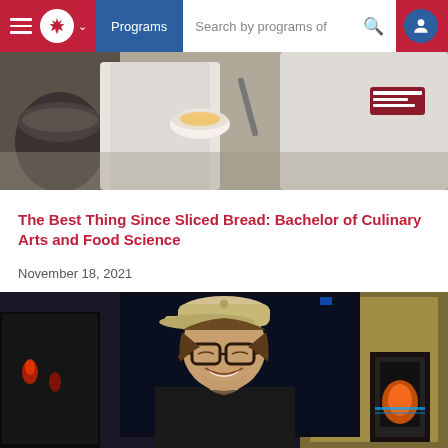Programs  Search by programs of
[Figure (photo): Two culinary students in white chef coats working in a kitchen, one holding a bowl]
The Best Thing Since Sliced Bread: Bachelor of Culinary Arts and Food Science
November 18, 2021
[Figure (photo): Young male student wearing a cap and glasses smiling in front of computer monitors displaying visual effects work]